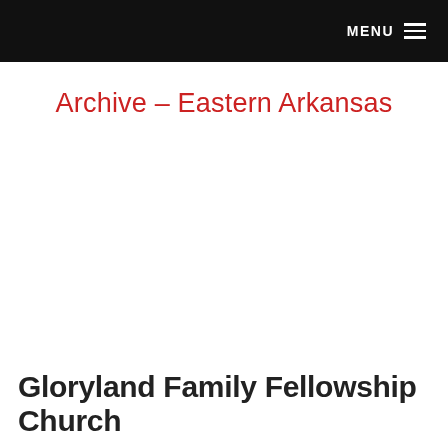MENU
Archive – Eastern Arkansas
Gloryland Family Fellowship Church